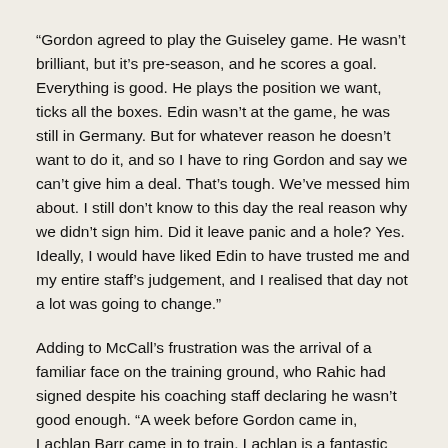“Gordon agreed to play the Guiseley game. He wasn’t brilliant, but it’s pre-season, and he scores a goal. Everything is good. He plays the position we want, ticks all the boxes. Edin wasn’t at the game, he was still in Germany. But for whatever reason he doesn’t want to do it, and so I have to ring Gordon and say we can’t give him a deal. That’s tough. We’ve messed him about. I still don’t know to this day the real reason why we didn’t sign him. Did it leave panic and a hole? Yes. Ideally, I would have liked Edin to have trusted me and my entire staff’s judgement, and I realised that day not a lot was going to change.”
Adding to McCall’s frustration was the arrival of a familiar face on the training ground, who Rahic had signed despite his coaching staff declaring he wasn’t good enough. “A week before Gordon came in, Lachlan Barr came in to train. Lachlan is a fantastic lad, really committed, but for our level wasn’t really good enough. We had him on trial the season before for a week – and all the staff thought he was a great lad, great attitude, but not good enough for a team getting out of this league. The next minute he’s turned up for training and he’s signed for six months. And yet we couldn’t get Gordon Greer over the line.”